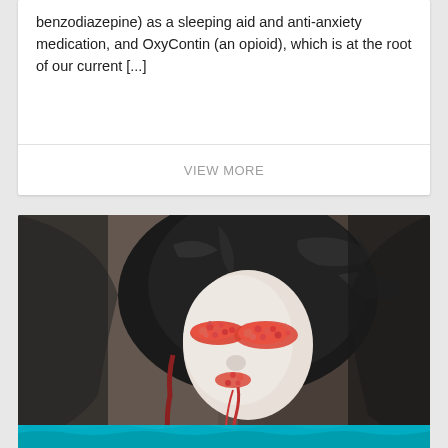benzodiazepine) as a sleeping aid and anti-anxiety medication, and OxyContin (an opioid), which is at the root of our current [...]
VIEW MORE
[Figure (photo): A person with white skin wearing a black plastic bag/wrap over their head, with red crystalline makeup covering their eyes and mouth area, and teal/turquoise elements at the bottom of the image. The background is a dark brownish-grey.]